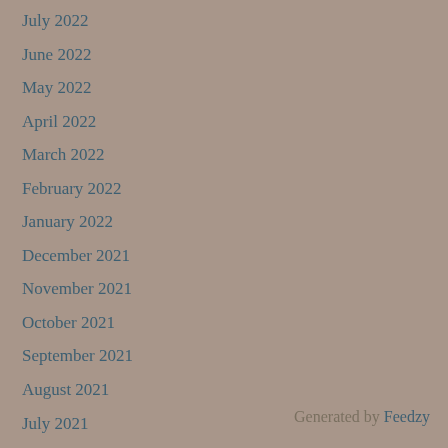July 2022
June 2022
May 2022
April 2022
March 2022
February 2022
January 2022
December 2021
November 2021
October 2021
September 2021
August 2021
July 2021
Generated by Feedzy